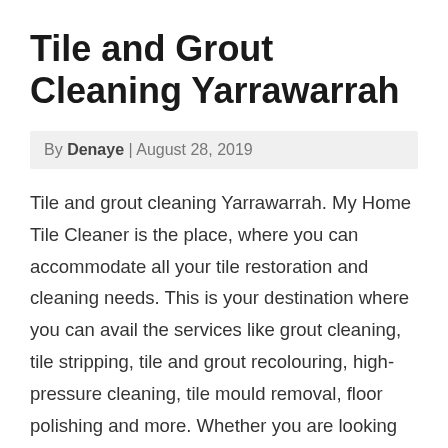Tile and Grout Cleaning Yarrawarrah
By Denaye | August 28, 2019
Tile and grout cleaning Yarrawarrah. My Home Tile Cleaner is the place, where you can accommodate all your tile restoration and cleaning needs. This is your destination where you can avail the services like grout cleaning, tile stripping, tile and grout recolouring, high-pressure cleaning, tile mould removal, floor polishing and more. Whether you are looking for commercial or home tile cleaning, our professional tile cleaners leave no stone unturned to bring you the desired results for tile and cleaning Yarrawarrah. Reach out at 0488 854 095 to get free quotes on our services.